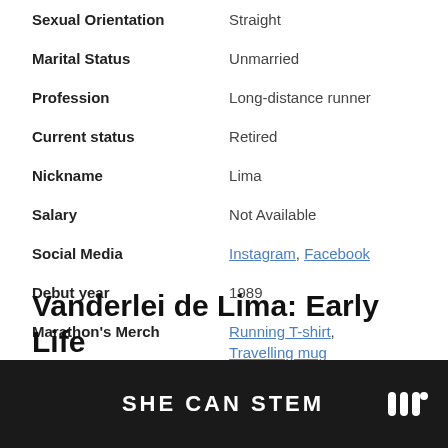| Field | Value |
| --- | --- |
| Sexual Orientation | Straight |
| Marital Status | Unmarried |
| Profession | Long-distance runner |
| Current status | Retired |
| Nickname | Lima |
| Salary | Not Available |
| Social Media | Instagram, Facebook |
| Debut year | 1989 |
| Marathon's Merch | Running T-shirt, Travelling mug |
| Last Update | August 2022 |
Vanderlei de Lima: Early Life
SHE CAN STEM